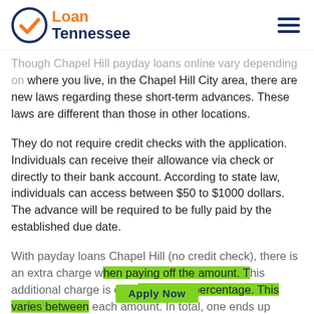Loan Tennessee
Though Chapel Hill payday loans online vary depending on where you live, in the Chapel Hill City area, there are new laws regarding these short-term advances. These laws are different than those in other locations.
They do not require credit checks with the application. Individuals can receive their allowance via check or directly to their bank account. According to state law, individuals can access between $50 to $1000 dollars. The advance will be required to be fully paid by the established due date.
With payday loans Chapel Hill (no credit check), there is an extra charge when paying off the amount. This additional charge is called the APR percentage. This varies between each amount. In total, one ends up paying the amount borrowed plus the APR percentage. Though the amount can fluctuate significantly, many, even millions of